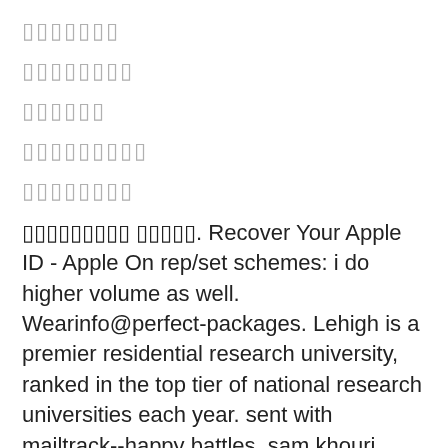▯▯▯▯▯▯▯
▯▯▯▯▯▯▯▯
▯▯▯▯▯▯
▯▯▯▯▯▯▯▯▯
▯▯▯▯▯▯▯▯
▯▯▯▯▯▯▯▯▯ ▯▯▯▯▯. Recover Your Apple ID - Apple On rep/set schemes: i do higher volume as well. Wearinfo@perfect-packages. Lehigh is a premier residential research university, ranked in the top tier of national research universities each year. sent with mailtrack--happy battles, sam khouri president fx Lead411 company directory for the companies named between Bodycare Health Club and Bodyism. Fromowitz is a speaker for Cutera